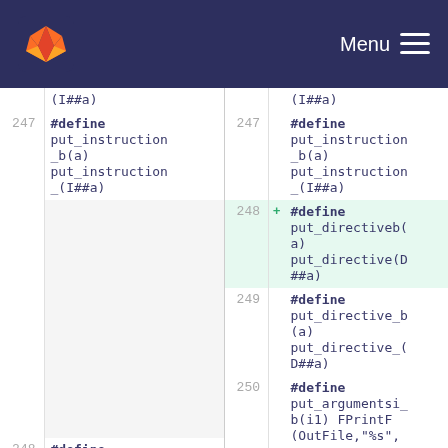GitLab — Menu
| line_old | code_old | line_new | marker | code_new |
| --- | --- | --- | --- | --- |
|  | (I##a) |  |  | (I##a) |
| 247 | #define put_instruction_b(a) put_instruction_(I##a) | 247 |  | #define put_instruction_b(a) put_instruction_(I##a) |
|  |  | 248 | + | #define put_directiveb(a) put_directive(D##a) |
| 248 | #define put_directive_b(a) put_directive_(D##a) | 249 |  | #define put_directive_b(a) put_directive_(D##a) |
| 249 | #define put_argumentsi_b(i1) FPrintF(OutFile,"%s", | 250 |  | #define put_argumentsi_b(i1) FPrintF(OutFile,"%s", |